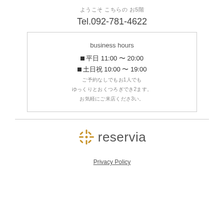ようこそ こちらの お5階
Tel.092-781-4622
business hours
■平日 11:00 〜 20:00
■土日祝 10:00 〜 19:00
ご予約なしでもお1人でも
ゆっくりとおくつろぎでき2ます。
お気軽にご来店くださ3い。
[Figure (logo): Reservia logo with golden asterisk and grey text]
Privacy Policy